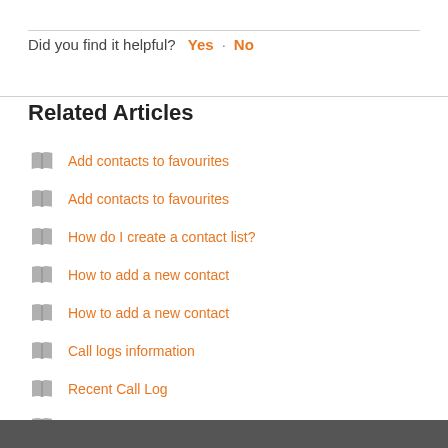Did you find it helpful? Yes · No
Related Articles
Add contacts to favourites
Add contacts to favourites
How do I create a contact list?
How to add a new contact
How to add a new contact
Call logs information
Recent Call Log
How to schedule shipments
Basic information for sending SMS
Massive SMS sending